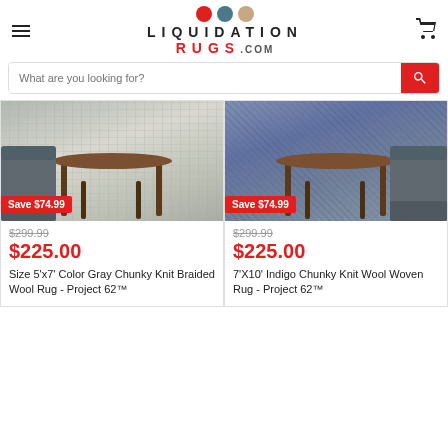[Figure (logo): LiquidationRugs.com logo with three colored dots (red, teal, tan) above text LIQUIDATION RUGS.COM]
[Figure (screenshot): Search bar with placeholder text 'What are you looking for?' and red search button]
[Figure (photo): Gray Chunky Knit Braided Wool Rug in room setting with furniture, Save $74.99 badge]
$299.99
$225.00
Size 5'x7' Color Gray Chunky Knit Braided Wool Rug - Project 62™
[Figure (photo): Indigo Chunky Knit Wool Woven Rug in room setting with furniture, Save $74.99 badge]
$299.99
$225.00
7'X10' Indigo Chunky Knit Wool Woven Rug - Project 62™